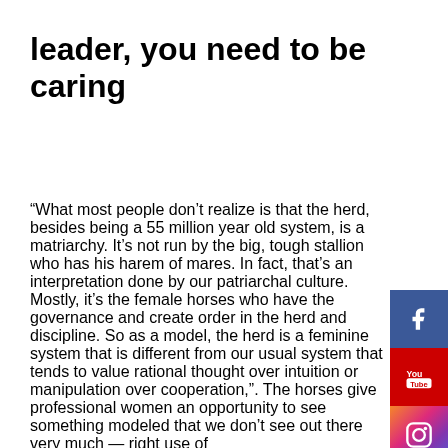leader, you need to be caring
“What most people don’t realize is that the herd, besides being a 55 million year old system, is a matriarchy. It’s not run by the big, tough stallion who has his harem of mares. In fact, that’s an interpretation done by our patriarchal culture. Mostly, it’s the female horses who have the governance and create order in the herd and discipline. So as a model, the herd is a feminine system that is different from our usual system that tends to value rational thought over intuition or manipulation over cooperation,”. The horses give professional women an opportunity to see something modeled that we don’t see out there very much — right use of